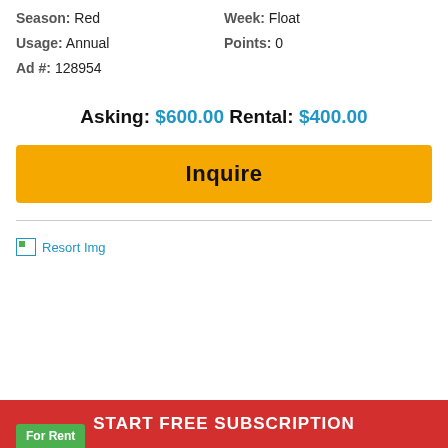Season: Red   Week: Float
Usage: Annual   Points: 0
Ad #: 128954
Asking: $600.00 Rental: $400.00
Inquire
[Figure (photo): Broken image placeholder labeled 'Resort Img']
START FREE SUBSCRIPTION
For Rent